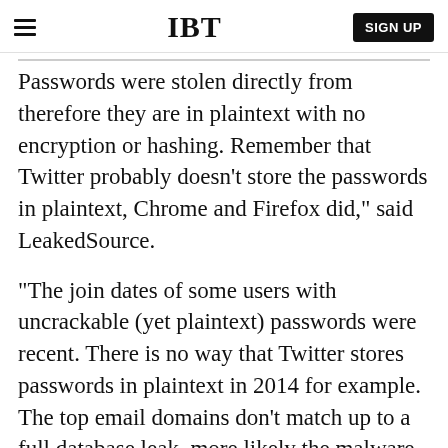IBT | SIGN UP
Passwords were stolen directly from consumers, therefore they are in plaintext with no encryption or hashing. Remember that Twitter probably doesn't store the passwords in plaintext, Chrome and Firefox did," said LeakedSource.
"The join dates of some users with uncrackable (yet plaintext) passwords were recent. There is no way that Twitter stores passwords in plaintext in 2014 for example. The top email domains don't match up to a full database leak, more likely the malware was spread to Russians."